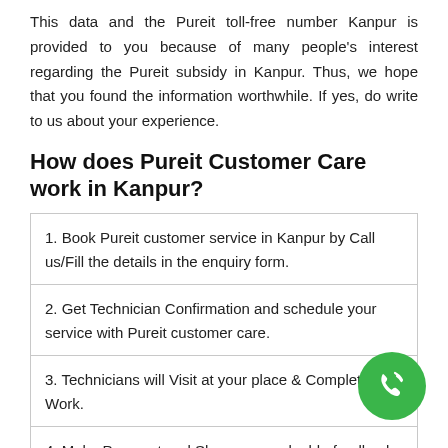This data and the Pureit toll-free number Kanpur is provided to you because of many people's interest regarding the Pureit subsidy in Kanpur. Thus, we hope that you found the information worthwhile. If yes, do write to us about your experience.
How does Pureit Customer Care work in Kanpur?
1. Book Pureit customer service in Kanpur by Call us/Fill the details in the enquiry form.
2. Get Technician Confirmation and schedule your service with Pureit customer care.
3. Technicians will Visit at your place & Complete Work.
4. Make Payment and Share your valuable feedback with the customer care team.